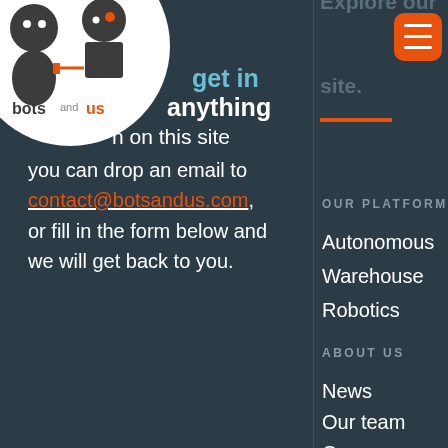[Figure (logo): Bots and Us logo — two robot/human figures shaking hands inside a white circle, with text 'bots and us' below]
Explore our site.
get in anything on this site you can drop an email to contact@botsandus.com, or fill in the form below and we will get back to you.
OUR PLATFORM
Autonomous Warehouse Robotics
ABOUT US
News
Our team
Careers
Bo – Customer Service Robot
YOUR NAME *
YOUR EMAIL ADDRESS *
CONTACT